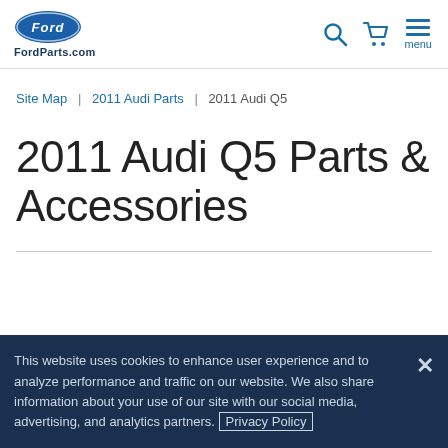FordParts.com — header with Ford logo, search, cart, and menu icons
Site Map | 2011 Audi Parts | 2011 Audi Q5
2011 Audi Q5 Parts & Accessories
This website uses cookies to enhance user experience and to analyze performance and traffic on our website. We also share information about your use of our site with our social media, advertising, and analytics partners. Privacy Policy ✕